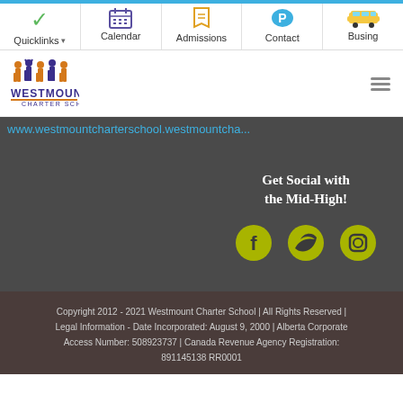Quicklinks | Calendar | Admissions | Contact | Busing
[Figure (logo): Westmount Charter School logo with stylized people figures in blue and orange/gold colors]
www.westmountcharterschool...
Get Social with the Mid-High!
[Figure (infographic): Facebook, Twitter, and Instagram social media icons in yellow-green circular backgrounds]
Copyright 2012 - 2021 Westmount Charter School | All Rights Reserved | Legal Information - Date Incorporated: August 9, 2000 | Alberta Corporate Access Number: 508923737 | Canada Revenue Agency Registration: 891145138 RR0001